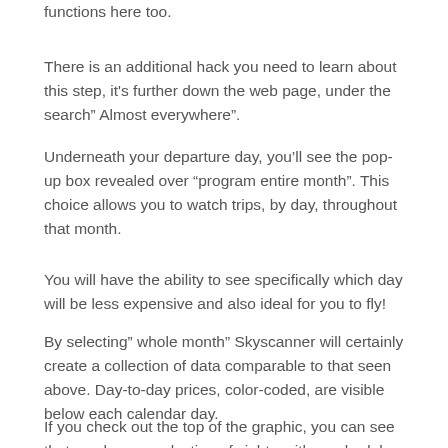functions here too.
There is an additional hack you need to learn about this step, it's further down the web page, under the search” Almost everywhere”.
Underneath your departure day, you’ll see the pop-up box revealed over “program entire month”. This choice allows you to watch trips, by day, throughout that month.
You will have the ability to see specifically which day will be less expensive and also ideal for you to fly!
By selecting” whole month” Skyscanner will certainly create a collection of data comparable to that seen above. Day-to-day prices, color-coded, are visible below each calendar day.
If you check out the top of the graphic, you can see that you have a selection of sights, either schedule view or bar chart sight. Both make it very easy to detect the cheapest day to fly over an